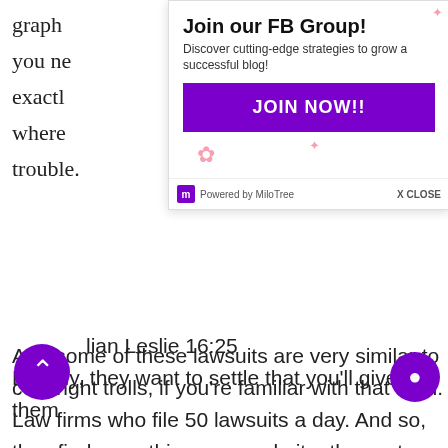graph you ne exactl where trouble.
[Figure (screenshot): MiloTree popup overlay: 'Join our FB Group! Discover cutting-edge strategies to grow a successful blog!' with a purple JOIN NOW!! button, flower decorations, Powered by MiloTree branding, and X CLOSE button.]
And some of these lawsuits are very similar to copyright trolls, if you’re familiar with that term. Law firms who file 50 lawsuits a day. And so, they find something on a website, they act on it, and they file, and they just want to get paid to go away. That’s my understanding.
lian Leslie 16:25
Exactly, they want to settle that you’ll give them th...